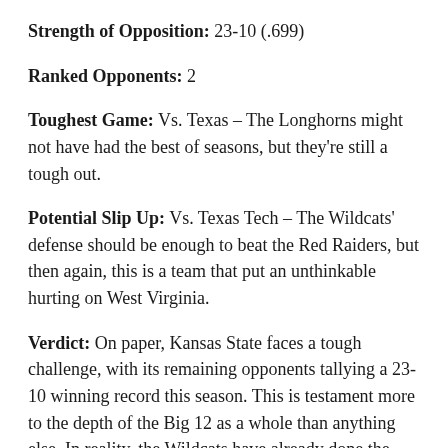Strength of Opposition: 23-10 (.699)
Ranked Opponents: 2
Toughest Game: Vs. Texas – The Longhorns might not have had the best of seasons, but they're still a tough out.
Potential Slip Up: Vs. Texas Tech – The Wildcats' defense should be enough to beat the Red Raiders, but then again, this is a team that put an unthinkable hurting on West Virginia.
Verdict: On paper, Kansas State faces a tough challenge, with its remaining opponents tallying a 23-10 winning record this season. This is testament more to the depth of the Big 12 as a whole than anything else. In reality, the Wildcats have already done the hard work (beating Oklahoma) and look more than capable of